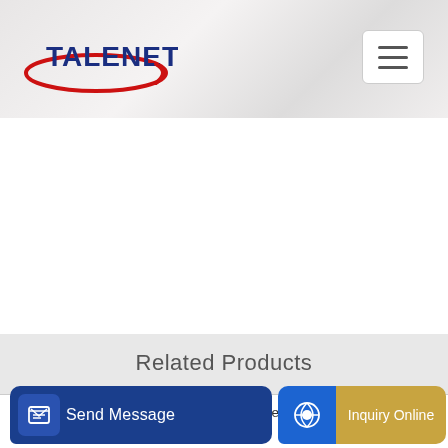[Figure (logo): TALENET company logo with red oval and blue text]
Related Products
10-30tph High Capacity Vertical Dry Concrete Mixer
what mean jps and opc for stationary concrete batching plant
al uni
[Figure (other): Send Message button with icon]
[Figure (other): Inquiry Online button with icon]